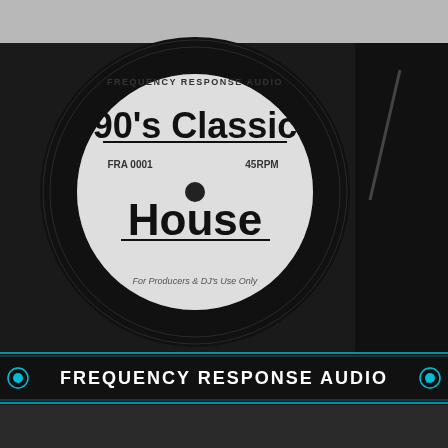[Figure (illustration): A vinyl record on a turntable with a white label reading 'FREQUENCY RESPONSE AUDIO', '90's Classic House', 'FRA 0001', '45RPM', 'For Producers & DJ's Use Only'. Below the turntable image is a black banner with 'FREQUENCY RESPONSE AUDIO' in white/cyan text.]